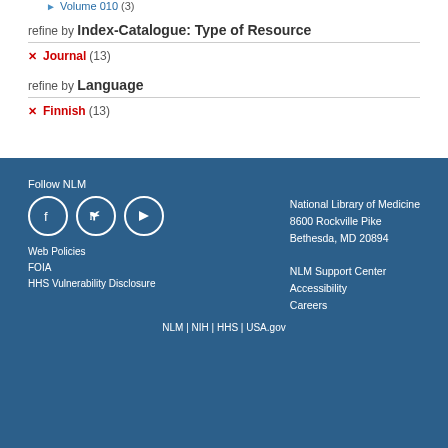Volume 010 (3)
refine by Index-Catalogue: Type of Resource
Journal (13)
refine by Language
Finnish (13)
Follow NLM
Facebook Twitter YouTube
Web Policies
FOIA
HHS Vulnerability Disclosure
National Library of Medicine
8600 Rockville Pike
Bethesda, MD 20894
NLM Support Center
Accessibility
Careers
NLM | NIH | HHS | USA.gov